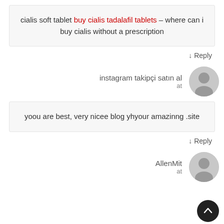cialis soft tablet buy cialis tadalafil tablets – where can i buy cialis without a prescription
↓ Reply
instagram takipçi satın al at
[Figure (illustration): Gray circular user avatar icon]
yoou are best, very nicee blog yhyour amazinng .site
↓ Reply
AllenMit at
[Figure (illustration): Gray circular user avatar icon (partially cut off)]
[Figure (illustration): Dark circular scroll-to-top button with upward arrow]